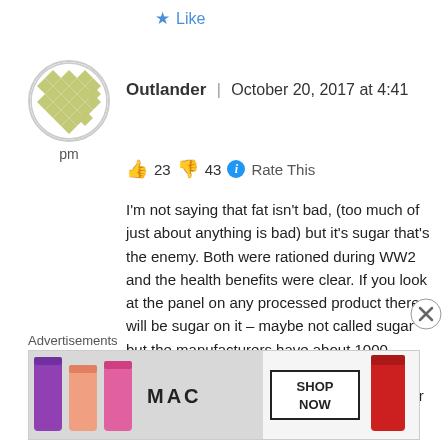Like
[Figure (illustration): User avatar with olive green diamond/lattice pattern on white circle background]
pm
Outlander | October 20, 2017 at 4:41 pm
👍 23 👎 43 ℹ Rate This
I'm not saying that fat isn't bad, (too much of just about anything is bad) but it's sugar that's the enemy. Both were rationed during WW2 and the health benefits were clear. If you look at the panel on any processed product there will be sugar on it – maybe not called sugar but the manufacturers have about 1000 words for sugar. I have a friend who is an industrial chemist and he printed out a list for me of all the different words they use fo
Advertisements
[Figure (screenshot): MAC cosmetics advertisement banner showing lipsticks and SHOP NOW button]